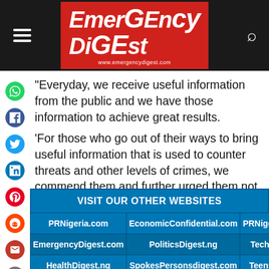Emergency Digest — www.emergencydigest.com
“Everyday, we receive useful information from the public and we have those information to achieve great results.
‘For those who go out of their ways to bring useful information that is used to counter threats and other levels of crimes, we commend them and further urged them not to be tired in working harmoniously with security agencies,” he said. (NAN)
| VISIT OUR OTHER WEBSITES |  |  |
| --- | --- | --- |
| PRNigeria.com | EconomicConfidential.com | PRNigeria. |
| EmergencyDigest.com | PoliticsDigest.ng | TechDi |
| HealthDigest.ng | SpokesPersonsdigest.com | TeensD |
| ArewaAgenda.com | Hausa.ArewaAgenda.com | YAShu |